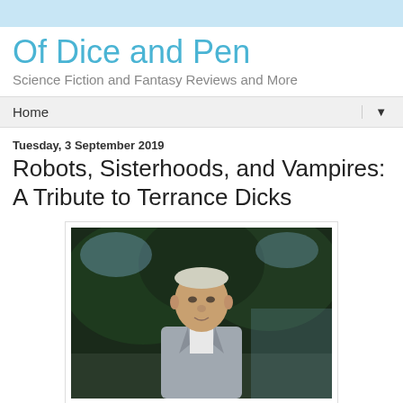Of Dice and Pen
Science Fiction and Fantasy Reviews and More
Home
Tuesday, 3 September 2019
Robots, Sisterhoods, and Vampires: A Tribute to Terrance Dicks
[Figure (photo): Photograph of an older man in a grey blazer standing outdoors with trees in the background]